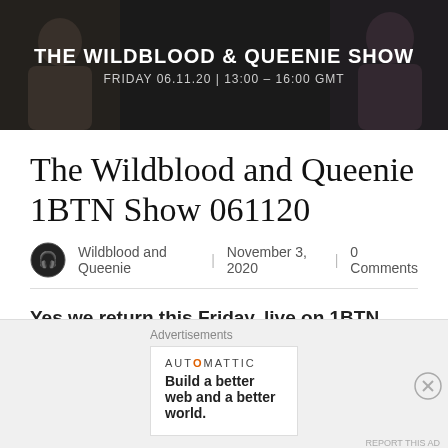[Figure (photo): Dark banner image with two people silhouetted, showing 'THE WILDBLOOD & QUEENIE SHOW' and 'FRIDAY 06.11.20 | 13:00 – 16:00 GMT']
The Wildblood and Queenie 1BTN Show 061120
Wildblood and Queenie | November 3, 2020 | 0 Comments
Yes we return this Friday, live on 1BTN. Busting the blues and demanding the dance as we bring some glittering disco and house grooves to your Friday afternoon. We've loads to keep you in disco denial as we ignore reality and join together across the
Advertisements
AUTOMATTIC
Build a better web and a better world.